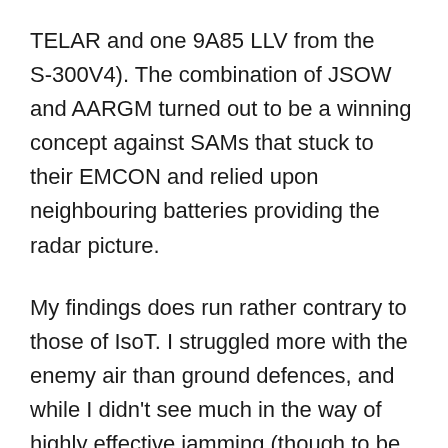TELAR and one 9A85 LLV from the S-300V4). The combination of JSOW and AARGM turned out to be a winning concept against SAMs that stuck to their EMCON and relied upon neighbouring batteries providing the radar picture.
My findings does run rather contrary to those of IsoT. I struggled more with the enemy air than ground defences, and while I didn't see much in the way of highly effective jamming (though to be honest that might simply be down to not having perfect information, it might be that the enemy operators were sweating and had to rely on secondary